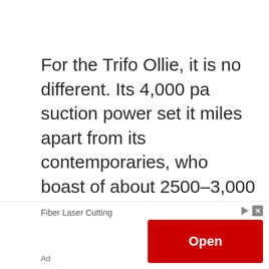For the Trifo Ollie, it is no different. Its 4,000 pa suction power set it miles apart from its contemporaries, who boast of about 2500–3,000 pa.

When vacuuming hard floors, the 2500 pa vacuum cleaners may
Fiber Laser Cutting
Ad